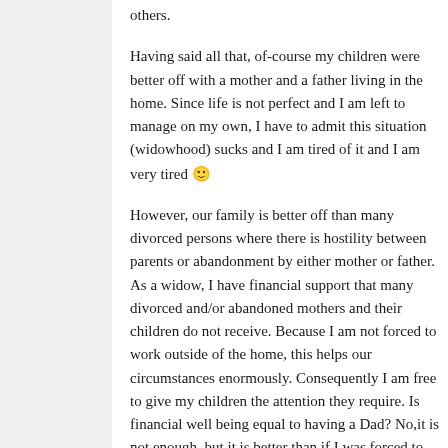others.

Having said all that, of-course my children were better off with a mother and a father living in the home. Since life is not perfect and I am left to manage on my own, I have to admit this situation (widowhood) sucks and I am tired of it and I am very tired 🙂

However, our family is better off than many divorced persons where there is hostility between parents or abandonment by either mother or father. As a widow, I have financial support that many divorced and/or abandoned mothers and their children do not receive. Because I am not forced to work outside of the home, this helps our circumstances enormously. Consequently I am free to give my children the attention they require. Is financial well being equal to having a Dad? No,it is not enough, but it is better than if I was forced to work and/or go to school. My hat is off to those of